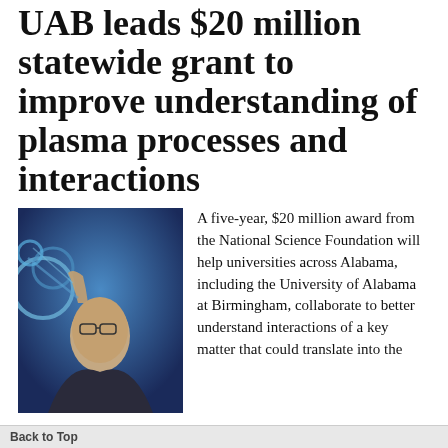UAB leads $20 million statewide grant to improve understanding of plasma processes and interactions
[Figure (photo): A man with glasses working with scientific equipment, blue-lit laboratory setting]
A five-year, $20 million award from the National Science Foundation will help universities across Alabama, including the University of Alabama at Birmingham, collaborate to better understand interactions of a key matter that could translate into the development of new technologies in areas ranging from food safety and aerospace to medicine.
Tagged under  #research and innovation  #Department of physics department of physics faculty news  #faculty
Back to Top